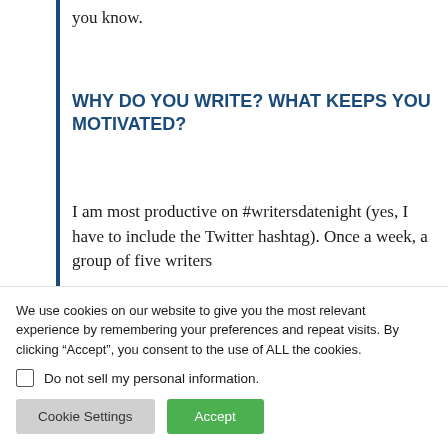you know.
WHY DO YOU WRITE? WHAT KEEPS YOU MOTIVATED?
I am most productive on #writersdatenight (yes, I have to include the Twitter hashtag). Once a week, a group of five writers
We use cookies on our website to give you the most relevant experience by remembering your preferences and repeat visits. By clicking “Accept”, you consent to the use of ALL the cookies.
Do not sell my personal information.